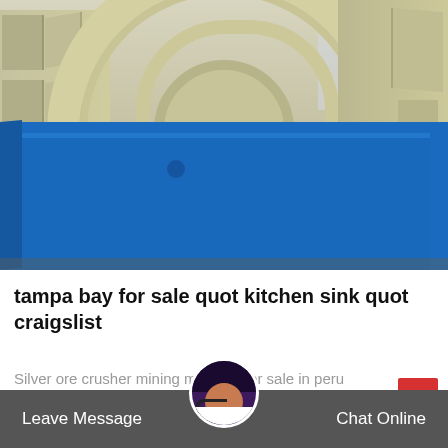[Figure (photo): Industrial mining/sand washing machine with large yellow wheel mechanism and blue rectangular trough/bin, photographed outdoors at a facility]
tampa bay for sale quot kitchen sink quot craigslist
Silver ore crusher mining machine for sale in peru crushing and grinding m... or mining industry in...
Leave Message   Chat Online